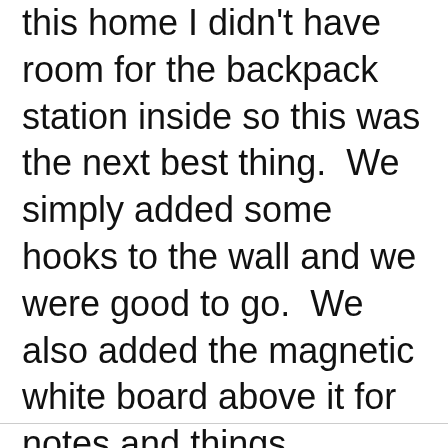this home I didn't have room for the backpack station inside so this was the next best thing.  We simply added some hooks to the wall and we were good to go.  We also added the magnetic white board above it for notes and things.